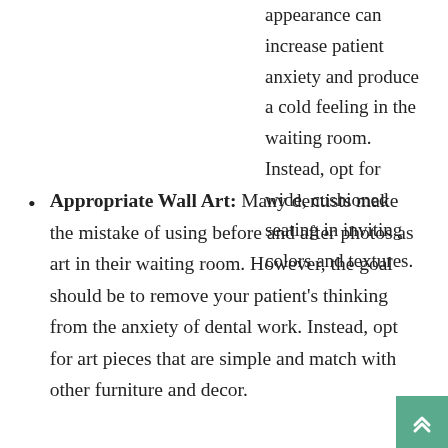appearance can increase patient anxiety and produce a cold feeling in the waiting room. Instead, opt for wide, cushioned seating in inviting colors and textures.
Appropriate Wall Art: Many dentists make the mistake of using before and after photos as art in their waiting room. However, the goal should be to remove your patient's thinking from the anxiety of dental work. Instead, opt for art pieces that are simple and match with other furniture and decor.